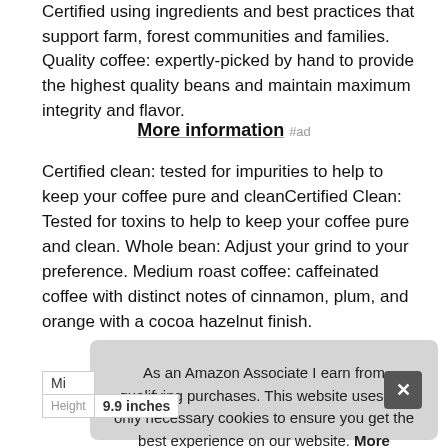Certified using ingredients and best practices that support farm, forest communities and families. Quality coffee: expertly-picked by hand to provide the highest quality beans and maintain maximum integrity and flavor.
More information #ad
Certified clean: tested for impurities to help to keep your coffee pure and cleanCertified Clean: Tested for toxins to help to keep your coffee pure and clean. Whole bean: Adjust your grind to your preference. Medium roast coffee: caffeinated coffee with distinct notes of cinnamon, plum, and orange with a cocoa hazelnut finish.
As an Amazon Associate I earn from qualifying purchases. This website uses the only necessary cookies to ensure you get the best experience on our website. More information